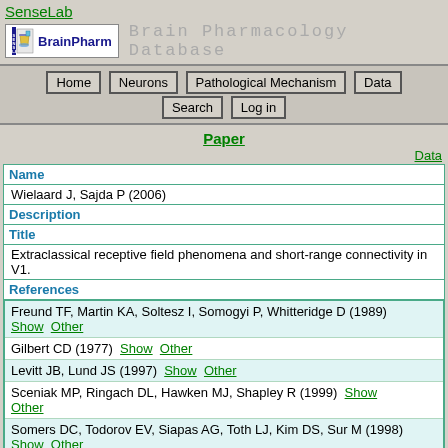SenseLab
[Figure (logo): BrainPharm logo with flask icon and text 'BrainPharm' and 'Brain Pharmacology Database']
Home | Neurons | Pathological Mechanism | Data | Search | Log in
Paper
Data
| Field | Value |
| --- | --- |
| Name | Wielaard J, Sajda P (2006) |
| Description |  |
| Title | Extraclassical receptive field phenomena and short-range connectivity in V1. |
| References | Freund TF, Martin KA, Soltesz I, Somogyi P, Whitteridge D (1989) Show Other
Gilbert CD (1977) Show Other
Levitt JB, Lund JS (1997) Show Other
Sceniak MP, Ringach DL, Hawken MJ, Shapley R (1999) Show Other
Somers DC, Todorov EV, Siapas AG, Toth LJ, Kim DS, Sur M (1998) Show Other
Benardete EA, Kaplan E (1999) Show Other
McLaughlin D, Shapley R, Shelley M, Wielaard DJ (2000) Show |